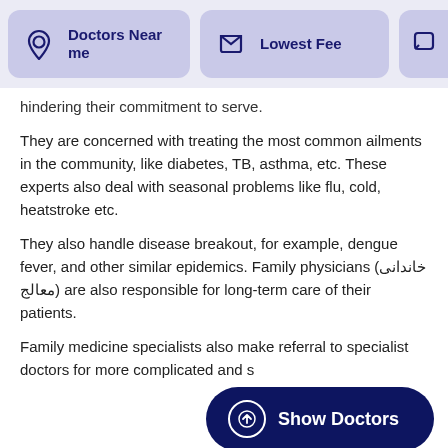Doctors Near me | Lowest Fee
hindering their commitment to serve.
They are concerned with treating the most common ailments in the community, like diabetes, TB, asthma, etc. These experts also deal with seasonal problems like flu, cold, heatstroke etc.
They also handle disease breakout, for example, dengue fever, and other similar epidemics. Family physicians (خاندانی معالج) are also responsible for long-term care of their patients.
Family medicine specialists also make referral to specialist doctors for more complicated and s
How do I choose a Family Physician?